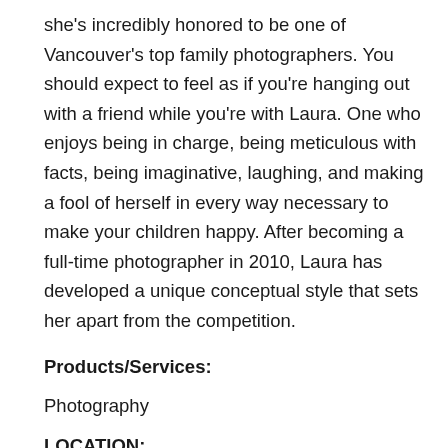she's incredibly honored to be one of Vancouver's top family photographers. You should expect to feel as if you're hanging out with a friend while you're with Laura. One who enjoys being in charge, being meticulous with facts, being imaginative, laughing, and making a fool of herself in every way necessary to make your children happy. After becoming a full-time photographer in 2010, Laura has developed a unique conceptual style that sets her apart from the competition.
Products/Services:
Photography
LOCATION:
Address: 1721 Grant St, Vancouver, BC V5L 2Y6